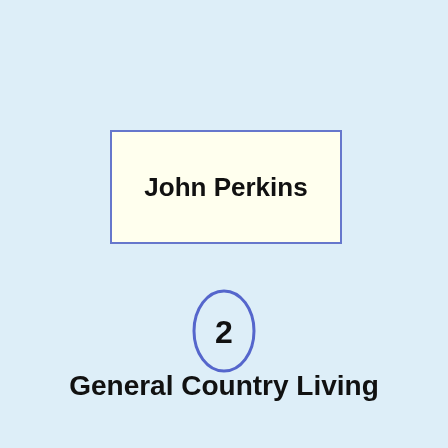John Perkins
[Figure (other): Circled number 2 badge with blue oval outline]
General Country Living